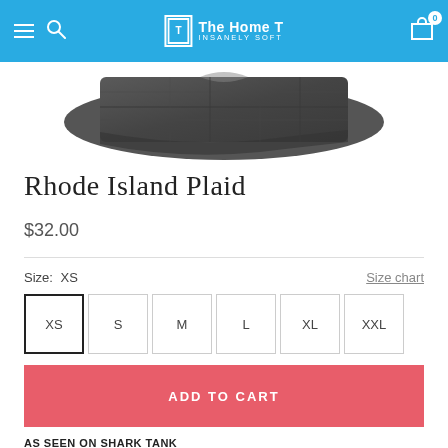The Home T — INSANELY SOFT
[Figure (photo): Folded dark grey plaid fabric/blanket product image on white background]
Rhode Island Plaid
$32.00
Size: XS
Size chart
XS  S  M  L  XL  XXL
ADD TO CART
AS SEEN ON SHARK TANK